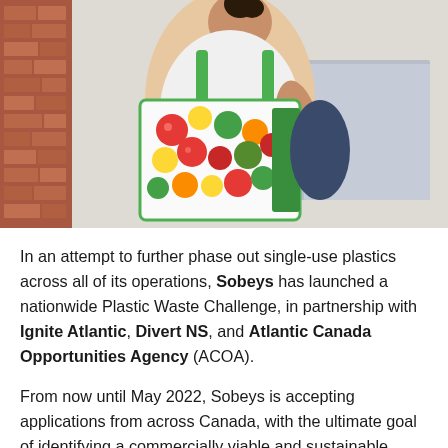[Figure (photo): A woman carrying a colorful reusable grocery bag with fruit and vegetable pattern and green straps, walking outside near a brick wall building.]
In an attempt to further phase out single-use plastics across all of its operations, Sobeys has launched a nationwide Plastic Waste Challenge, in partnership with Ignite Atlantic, Divert NS, and Atlantic Canada Opportunities Agency (ACOA).
From now until May 2022, Sobeys is accepting applications from across Canada, with the ultimate goal of identifying a commercially viable and sustainable alternative to the